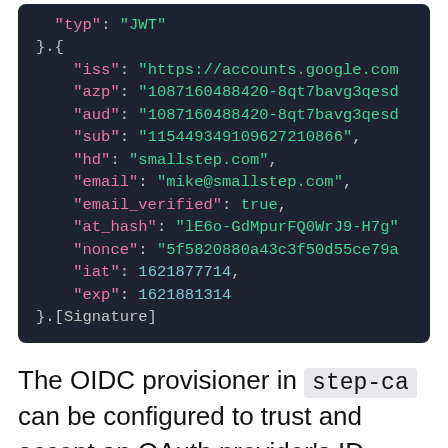[Figure (screenshot): Code block showing a JWT payload JSON object with fields: typ, iss, azp, aud, sub, hd, email, email_verified, at_hash, nonce, iat, exp, followed by }.[Signature]]
The OIDC provisioner in step-ca can be configured to trust and accept an OAuth provider's ID token for authentication. By default,